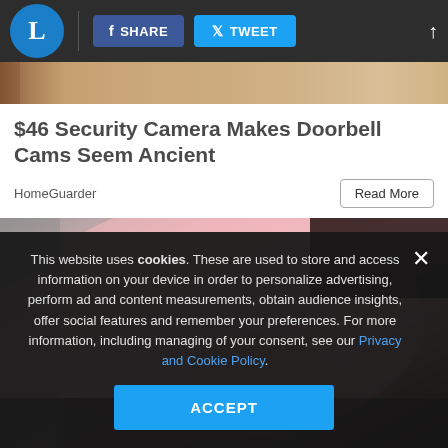L | SHARE | TWEET
[Figure (photo): Partially visible top image strip showing a tan/golden background]
$46 Security Camera Makes Doorbell Cams Seem Ancient
HomeGuarder
Read More
[Figure (photo): Woman in pink top with hand on chest, dark background]
This website uses cookies. These are used to store and access information on your device in order to personalize advertising, perform ad and content measurements, obtain audience insights, offer social features and remember your preferences. For more information, including managing of your consent, see our Privacy and Cookie Policy.
ACCEPT